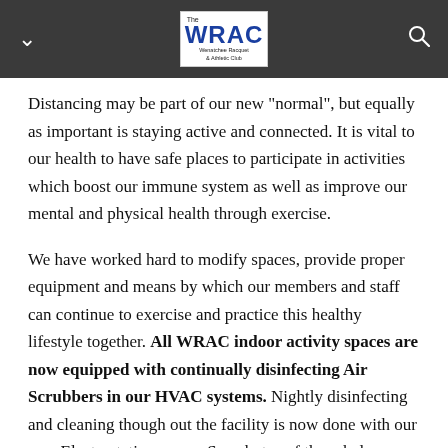The WRAC — Wenatchee Racquet & Athletic Club
Distancing may be part of our new "normal", but equally as important is staying active and connected. It is vital to our health to have safe places to participate in activities which boost our immune system as well as improve our mental and physical health through exercise.
We have worked hard to modify spaces, provide proper equipment and means by which our members and staff can continue to exercise and practice this healthy lifestyle together. All WRAC indoor activity spaces are now equipped with continually disinfecting Air Scrubbers in our HVAC systems. Nightly disinfecting and cleaning though out the facility is now done with our new Electrostatic sprayer. See photos of these below